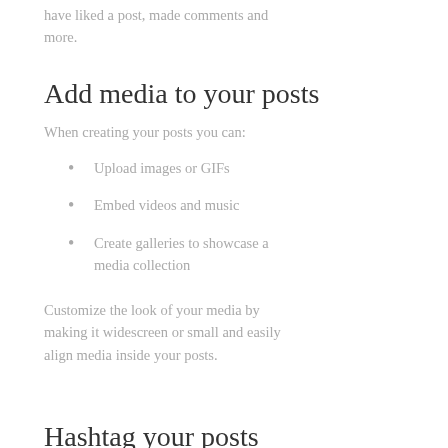have liked a post, made comments and more.
Add media to your posts
When creating your posts you can:
Upload images or GIFs
Embed videos and music
Create galleries to showcase a media collection
Customize the look of your media by making it widescreen or small and easily align media inside your posts.
Hashtag your posts